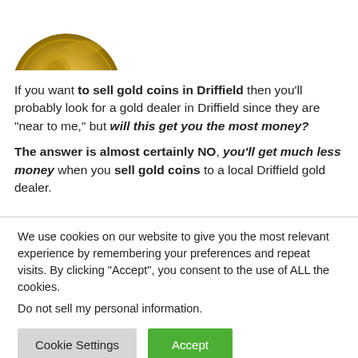[Figure (photo): Partial view of a gold coin from above, cropped at the top of the page]
If you want to sell gold coins in Driffield then you'll probably look for a gold dealer in Driffield since they are "near to me," but will this get you the most money?
The answer is almost certainly NO, you'll get much less money when you sell gold coins to a local Driffield gold dealer.
We use cookies on our website to give you the most relevant experience by remembering your preferences and repeat visits. By clicking "Accept", you consent to the use of ALL the cookies.
Do not sell my personal information.